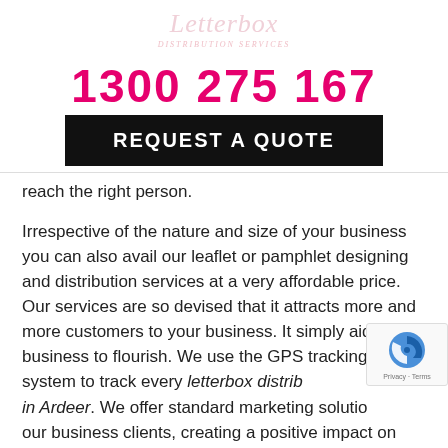[Figure (logo): Letterbox distribution services script logo in light pink/rose color with decorative tagline beneath]
1300 275 167
REQUEST A QUOTE
reach the right person.
Irrespective of the nature and size of your business you can also avail our leaflet or pamphlet designing and distribution services at a very affordable price. Our services are so devised that it attracts more and more customers to your business. It simply aids your business to flourish. We use the GPS tracking system to track every letterbox distribution in Ardeer. We offer standard marketing solutions for our business clients, creating a positive impact on